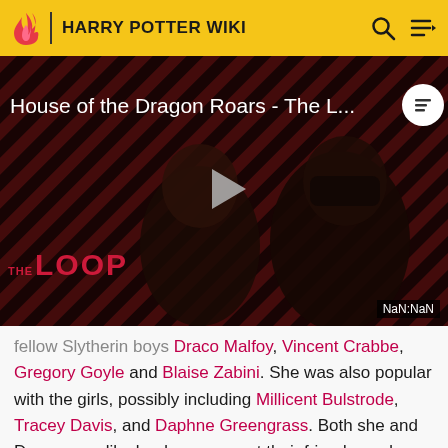HARRY POTTER WIKI
[Figure (screenshot): Video player showing 'House of the Dragon Roars - The L...' with a play button in the center, a striped dark red/black background, two figures silhouetted, THE LOOP logo in pink/white at bottom left, a NaN:NaN timestamp at bottom right, and a playlist icon at top right.]
fellow Slytherin boys Draco Malfoy, Vincent Crabbe, Gregory Goyle and Blaise Zabini. She was also popular with the girls, possibly including Millicent Bulstrode, Tracey Davis, and Daphne Greengrass. Both she and Draco were like leaders amongst their friends, and used this position to bully other students and sometimes even